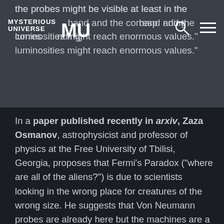Mysterious Universe [logo] [search icon] [menu icon]
the probes might be visible at least in the infrared band and the corresponding luminosities might reach enormous values."
In a paper published recently in arxiv, Zaza Osmanov, astrophysicist and professor of physics at the Free University of Tbilisi, Georgia, proposes that Fermi's Paradox ("where are all of the aliens?") is due to scientists looking in the wrong place for creatures of the wrong size. He suggests that Von Neumann probes are already here but the machines are a microscopic one nanometer long. (For comparison, a strand of human DNA is 2.5 nanometers in diameter.) At that scale, the probes can be powered by